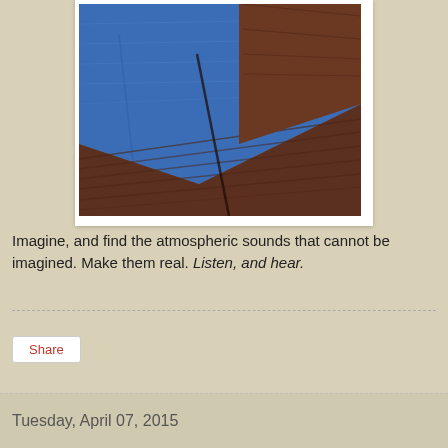[Figure (photo): Close-up photo of a blue fabric or tarp material overlapping dark reddish-brown wood planks, viewed from an angle. The image has a white polaroid-style border.]
Imagine, and find the atmospheric sounds that cannot be imagined. Make them real. Listen, and hear.
Share
Tuesday, April 07, 2015